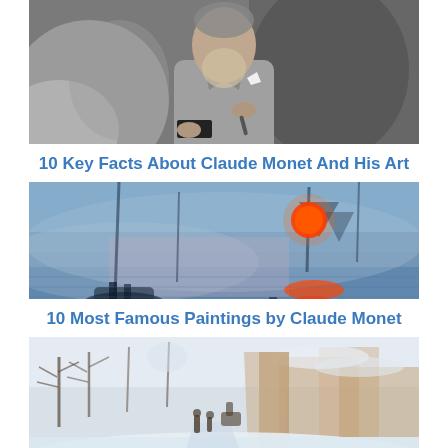[Figure (photo): Black and white photo of Claude Monet, an elderly man in a coat with a dark armband, holding a brush or pencil, with a blurred outdoor background]
10 Key Facts About Claude Monet And His Art
[Figure (photo): Monet's painting 'Impression, Sunrise' — a blue-toned harbor scene with a vivid orange-red sun reflected on the water and boats silhouetted in the mist]
10 Most Famous Paintings by Claude Monet
[Figure (photo): Monet's winter landscape painting showing a snow-covered scene with figures walking on a path, bare trees, and buildings in the background]